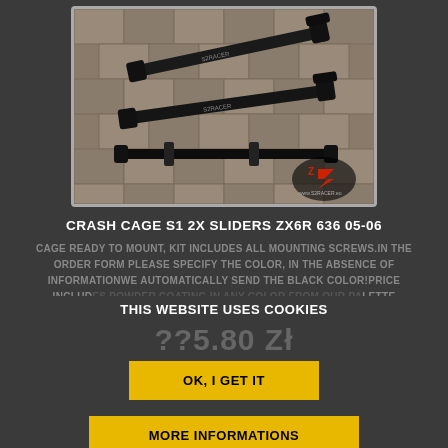[Figure (photo): Two black crash cage sliders for motorcycle ZX6R 636 05-06, laid on a paved surface. Items shown are black metal frame sliders with branded logos. A logo watermark visible in bottom-right corner.]
CRASH CAGE S1 2X SLIDERS ZX6R 636 05-06
CAGE READY TO MOUNT, KIT INCLUDES ALL MOUNTING SCREWS.IN THE ORDER FORM PLEASE SPECIFY THE COLOR, IN THE ABSENCE OF INFORMATIONWE AUTOMATICALLY SEND THE BLACK COLOR!PRICE INCLUDES POWDER COATING IN ANY COLOR FROM OUR PALETTE
THIS WEBSITE USES COOKIES
??5.80 Zł
OK, I GET IT
MORE INFORMATIONS